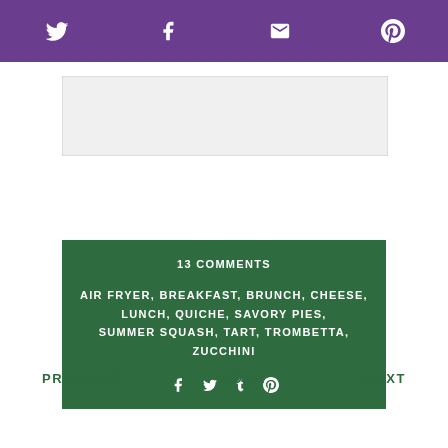Social share bar with Twitter, Facebook, Email, Pinterest icons
[Figure (screenshot): Advertisement placeholder box]
13 COMMENTS
AIR FRYER, BREAKFAST, BRUNCH, CHEESE, LUNCH, QUICHE, SAVORY PIES, SUMMER SQUASH, TART, TROMBETTA, ZUCCHINI
[Figure (infographic): Social share icons: Facebook, Twitter, Tumblr, Pinterest]
PREVIOUS   HOME   NEXT